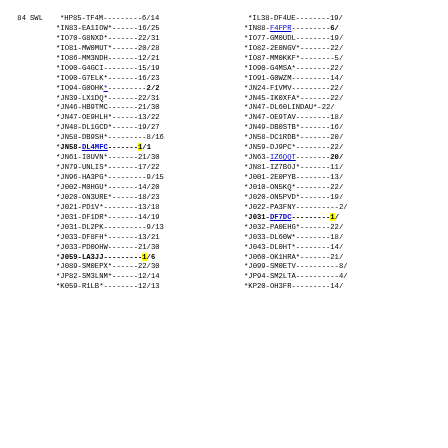84 SWL *HP85-TF4M---------6/14   *IL38-DF4UE--------19/
*IN83-EA1IOW*------16/25   *IN88-F4FPR---------6/
*IO70-G8NXD*-------22/31   *IO77-GM0UDL--------19/
*IO81-MW0MUT*------20/28   *IO82-2E0NGV*-------22/
*IO86-MM3NDH-------12/21   *IO87-MM0KKF*--------5/
*IO90-G4GCI--------15/19   *IO90-G4MSA*--------22/
*IO90-G7ELK*-------16/23   *IO91-G0WZM---------14/
*IO94-G0OHK*---------2/2   *JN24-F1VMV---------22/
*JN39-LX1DQ*-------22/31   *JN45-IK0XFA*-------22/
*JN46-HB9TMC-------21/30   *JN47-DL60LINDAU*-22/
*JN47-OE9HLH*------13/22   *JN47-OE9TAV--------18/
*JN48-DL1GCD*------19/27   *JN49-DB0STB*-------16/
*JN58-DB9SH*---------8/16  *JN58-DC1RDB*-------20/
*JN58-DL4MFC---------1/1   *JN59-DJ9PC*--------22/
*JN61-I0UVN*-------21/30   *JN63-IZ6QQT--------20/
*JN79-UNLIS*-------17/22   *JN81-IZ7BOJ*-------11/
*JN96-HA3PG*---------9/15  *J001-2E0PYB--------13/
*J002-M0HGU*-------14/20   *J010-ON5KQ*--------22/
*J020-ON3URE*------18/23   *J020-ON5PVD*-------19/
*J021-PD1V*--------13/18   *J022-PA3FNY----------2/
*J031-DF1DR*-------14/19   *J031-DF7DC-----------1/
*J031-DL2PK----------9/13  *J032-PA0EHG*-------22/
*J033-DF8FH*-------13/21   *J033-DL60W*--------18/
*J033-PD0OHW-------21/30   *J043-DL0HT*--------14/
*J059-LA3JJ----------1/6   *J060-OK1HRA*-------21/
*J089-SM0EPX*------22/30   *J099-SM0ETV----------8/
*JP82-SM3LNM*------12/14   *JP94-SM2LTA----------4/
*K059-R1LB*--------12/13   *KP20-OH3FR---------14/